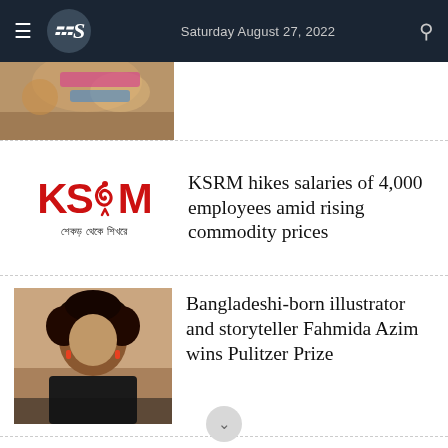Saturday August 27, 2022
[Figure (photo): Partial top image of a person at a press event]
KSRM hikes salaries of 4,000 employees amid rising commodity prices
[Figure (logo): KSRM logo with red text and Bengali tagline]
[Figure (photo): Portrait of Bangladeshi-born illustrator and storyteller Fahmida Azim]
Bangladeshi-born illustrator and storyteller Fahmida Azim wins Pulitzer Prize
[Figure (photo): Aerial city photo related to BRT project]
BRT project caused loss of over Tk4,000cr: Report